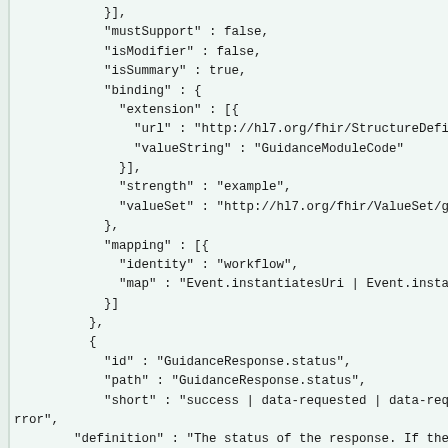}],
            "mustSupport" : false,
            "isModifier" : false,
            "isSummary" : true,
            "binding" : {
              "extension" : [{
                "url" : "http://hl7.org/fhir/StructureDefinition/ele
                "valueString" : "GuidanceModuleCode"
              }],
              "strength" : "example",
              "valueSet" : "http://hl7.org/fhir/ValueSet/guidance-mo
            },
            "mapping" : [{
              "identity" : "workflow",
              "map" : "Event.instantiatesUri | Event.instantiatesCan
            }]
          },
          {
            "id" : "GuidanceResponse.status",
            "path" : "GuidanceResponse.status",
            "short" : "success | data-requested | data-required | ir
rror",
        "definition" : "The status of the response. If the evalu
he status will indicate success. However, in order to complete
quire more information. In this case, the status will be data-
ntain a description of the additional required information. If
ully, but the engine determines that a potentially more accura
ore data was available, the status will be data-requested, and
iption of the additional requested information.",